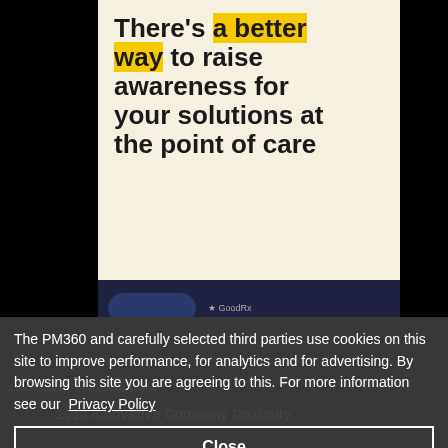[Figure (screenshot): Advertisement banner with cream/off-white background. Large bold text reads: There's a better way to raise awareness for your solutions at the point of care. The words 'a better way' are highlighted in yellow.]
The PM360 and carefully selected third parties use cookies on this site to improve performance, for analytics and for advertising. By browsing this site you are agreeing to this. For more information see our Privacy Policy
Close
DECEMBER  INNOVATIONS
PM360 2019 Innovative Company Doximity